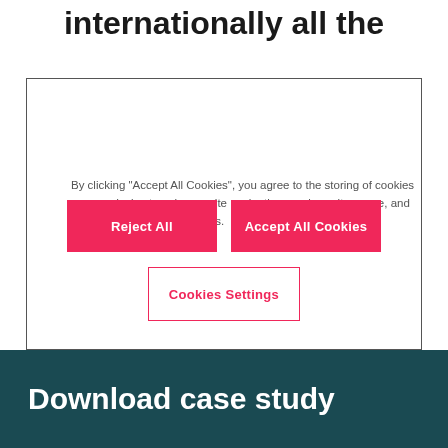internationally all the
[Figure (screenshot): Cookie consent dialog box with text about cookies, two pink 'Reject All' and 'Accept All Cookies' buttons, and an outlined 'Cookies Settings' button]
Rachel Coundon, Head of Administration @ Safinah
Download case study